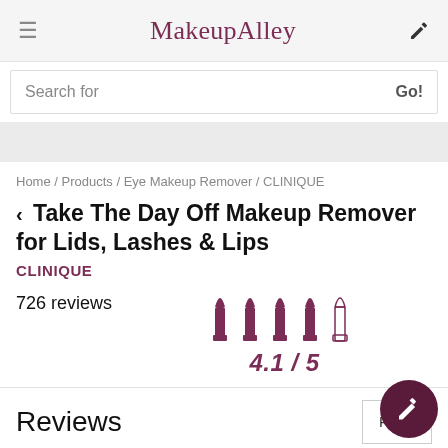MakeupAlley
Search for  Go!
Home / Products / Eye Makeup Remover / CLINIQUE
< Take The Day Off Makeup Remover for Lids, Lashes & Lips
CLINIQUE
726 reviews
[Figure (infographic): Rating display showing 4 filled lipstick icons and 1 outline lipstick icon, with score 4.1 / 5 below]
Reviews
Fi...